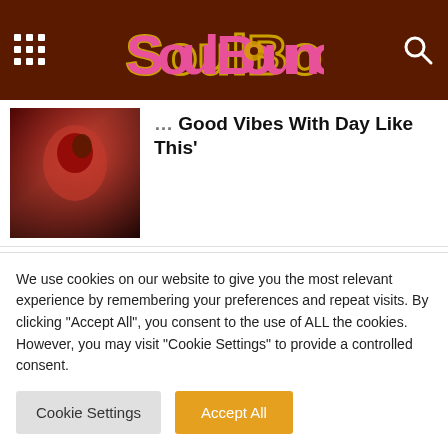SoulBounce
Your Good Vibes With Day Like This'
[Figure (photo): Woman in red outfit lying down, dark background]
Mickey Guyton Is Caught Up In 'Somethin' Bout You'
[Figure (photo): Woman with long curly hair in pink top against light blue/purple background]
We use cookies on our website to give you the most relevant experience by remembering your preferences and repeat visits. By clicking “Accept All”, you consent to the use of ALL the cookies. However, you may visit “Cookie Settings” to provide a controlled consent.